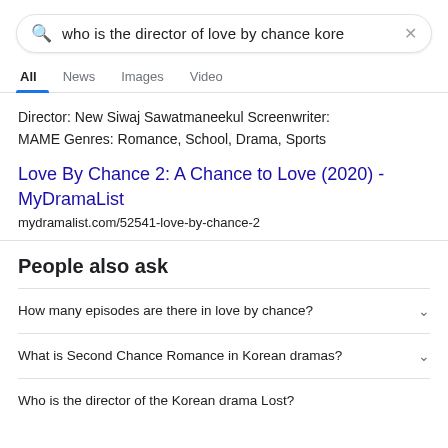who is the director of love by chance kore
All   News   Images   Video
Director: New Siwaj Sawatmaneekul Screenwriter: MAME Genres: Romance, School, Drama, Sports
Love By Chance 2: A Chance to Love (2020) - MyDramaList
mydramalist.com/52541-love-by-chance-2
People also ask
How many episodes are there in love by chance?
What is Second Chance Romance in Korean dramas?
Who is the director of the Korean drama Lost?